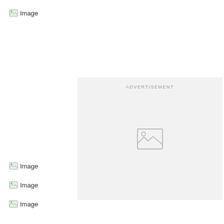[Figure (other): Broken image placeholder with 'Image' text, top left]
[Figure (other): Advertisement placeholder box with broken image icon in center]
[Figure (other): Broken image placeholder with 'Image' text]
[Figure (other): Broken image placeholder with 'Image' text]
[Figure (other): Broken image placeholder with 'Image' text]